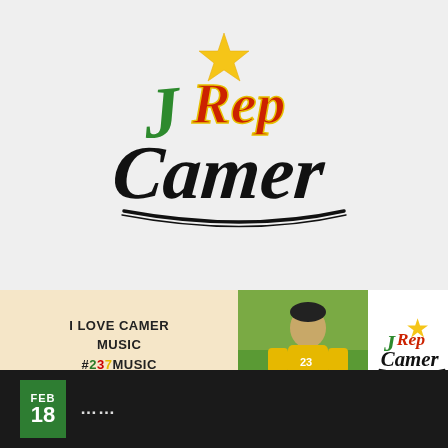[Figure (logo): JRep Camer logo with star, green J, red Rep text, and black Camer cursive text with Cameroon flag colors]
[Figure (photo): Banner with 'I LOVE CAMER MUSIC #237MUSIC' text on beige background, photo of person in yellow jersey, and small JRep Camer logo]
Navigation Menu
FEB 18